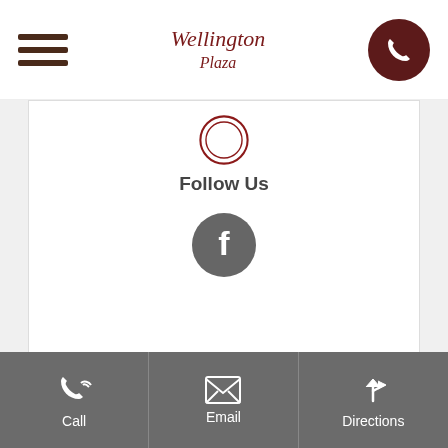Wellington Plaza - navigation header with hamburger menu and phone button
[Figure (illustration): Clock icon in dark red/maroon color inside double circle border]
Follow Us
[Figure (illustration): Facebook icon - white F on grey circle]
Office Hours
Monday - Friday 9:00am - 6:00pm
Saturday 10:00am - 5:00pm
Sunday Closed
Call | Email | Directions